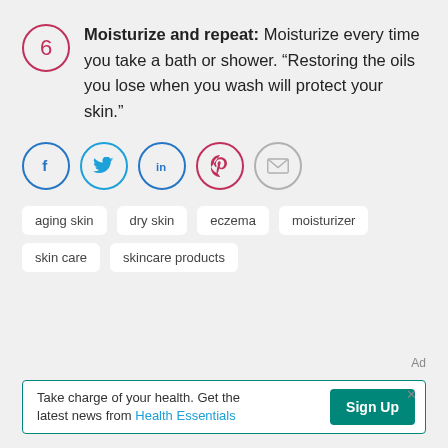6 Moisturize and repeat: Moisturize every time you take a bath or shower. “Restoring the oils you lose when you wash will protect your skin.”
[Figure (infographic): Row of social media share icons: Facebook (blue circle), Twitter (light blue circle), LinkedIn (blue circle), Pinterest (red circle), Email (gray circle)]
aging skin
dry skin
eczema
moisturizer
skin care
skincare products
Ad
Take charge of your health. Get the latest news from Health Essentials  Sign Up